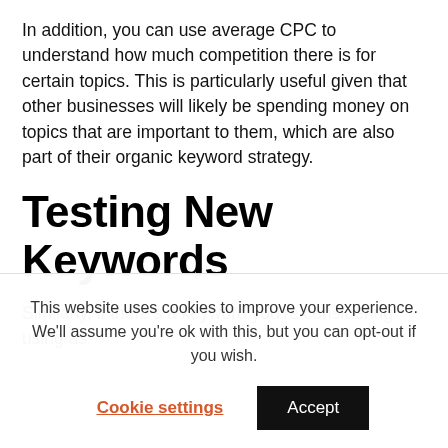In addition, you can use average CPC to understand how much competition there is for certain topics. This is particularly useful given that other businesses will likely be spending money on topics that are important to them, which are also part of their organic keyword strategy.
Testing New Keywords
Similarly, if there's a keyword you're considering using as
This website uses cookies to improve your experience. We'll assume you're ok with this, but you can opt-out if you wish.
Cookie settings   Accept